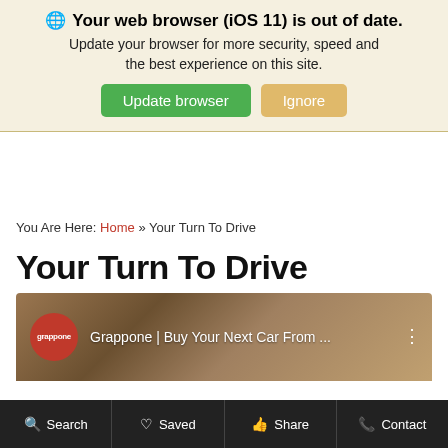🌐 Your web browser (iOS 11) is out of date. Update your browser for more security, speed and the best experience on this site. [Update browser] [Ignore]
You Are Here: Home » Your Turn To Drive
Your Turn To Drive
[Figure (screenshot): YouTube video thumbnail showing Grappone red circle logo and text 'Grappone | Buy Your Next Car From ...' on a brownish blurred background]
🔍 Search   ♡ Saved   👍 Share   📞 Contact